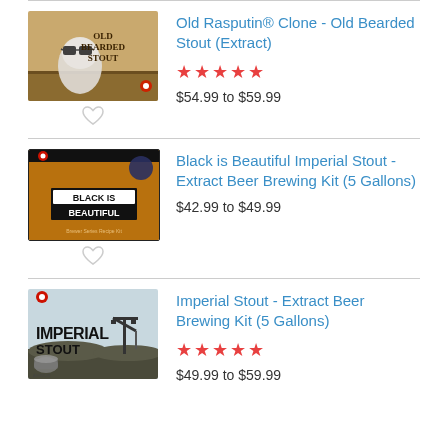[Figure (photo): Old Bearded Stout product label showing illustrated bearded man with sunglasses]
Old Rasputin® Clone - Old Bearded Stout (Extract)
★★★★★
$54.99 to $59.99
[Figure (photo): Black is Beautiful Imperial Stout product packaging with orange/amber background and black text box]
Black is Beautiful Imperial Stout - Extract Beer Brewing Kit (5 Gallons)
$42.99 to $49.99
[Figure (photo): Imperial Stout product label with oil pump jack and industrial scene]
Imperial Stout - Extract Beer Brewing Kit (5 Gallons)
★★★★★
$49.99 to $59.99